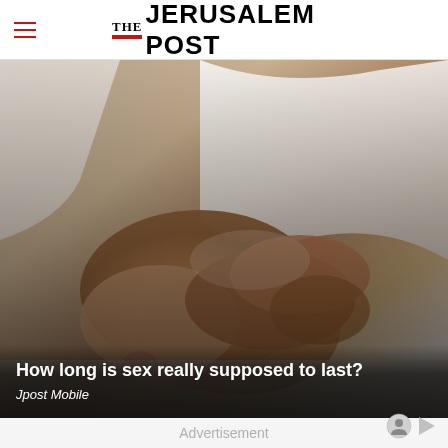THE JERUSALEM POST
[Figure (photo): Photo of two sets of feet/ankles intertwined under white bed sheets, accompanying an article about sexual health]
How long is sex really supposed to last?
Jpost Mobile
Advertisement